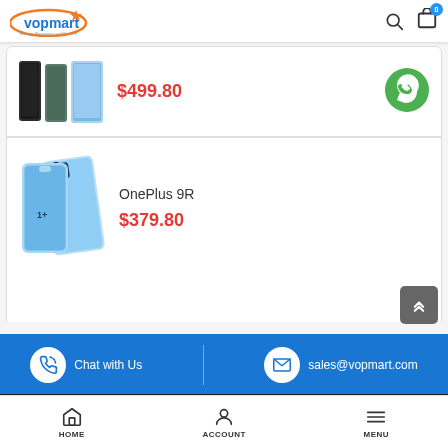vopmart
[Figure (photo): Partial view of smartphone product (multiple phones, dark/grey/blue colors), price $499.80 shown]
$499.80
[Figure (photo): OnePlus 9R smartphone product image showing blue/teal colored phones]
OnePlus 9R
$379.80
[Figure (other): WhatsApp green chat icon button]
[Figure (other): Scroll to top button (chevron up icon, grey background)]
Chat with Us   sales@vopmart.com   HOME   ACCOUNT   MENU